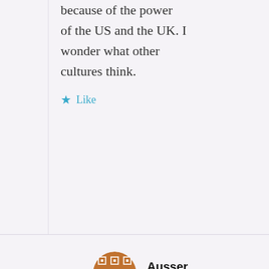because of the power of the US and the UK. I wonder what other cultures think.
★ Like
Ausser
June 20, 2019 at 1:38 am
Speaking for myself, I have no sense of "women have failed men." I'm not particularly asking for anything of "women" as a class. But I *would* say that women have